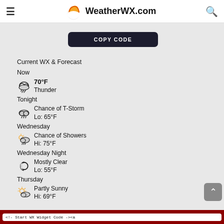WeatherWX.com
COPY CODE
Current WX & Forecast Now
70°F Thunder
Tonight
Chance of T-Storm Lo: 65°F
Wednesday
Chance of Showers Hi: 75°F
Wednesday Night
Mostly Clear Lo: 55°F
Thursday
Partly Sunny Hi: 69°F
<!- Start WX Widget Code -><a